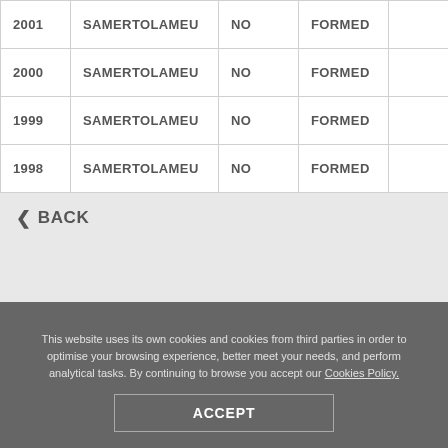| 2001 | SAMERTOLAMEU | NO | FORMED |  |
| 2000 | SAMERTOLAMEU | NO | FORMED |  |
| 1999 | SAMERTOLAMEU | NO | FORMED |  |
| 1998 | SAMERTOLAMEU | NO | FORMED |  |
< BACK
This website uses its own cookies and cookies from third parties in order to optimise your browsing experience, better meet your needs, and perform analytical tasks. By continuing to browse you accept our Cookies Policy.
ACCEPT